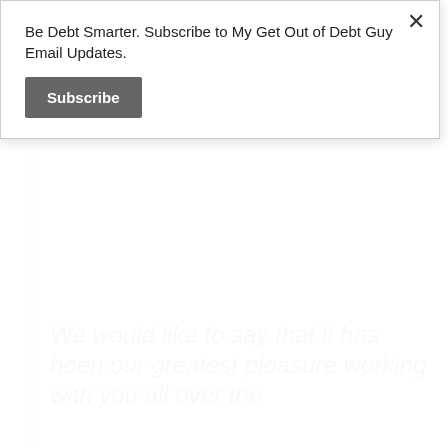deposits from active accounts. This may change at the time of filing bankruptcy, or the court may order otherwise. [count on it changing]
We would like to say that it has been our greatest pleasure working with you all over the
Be Debt Smarter. Subscribe to My Get Out of Debt Guy Email Updates.
Subscribe